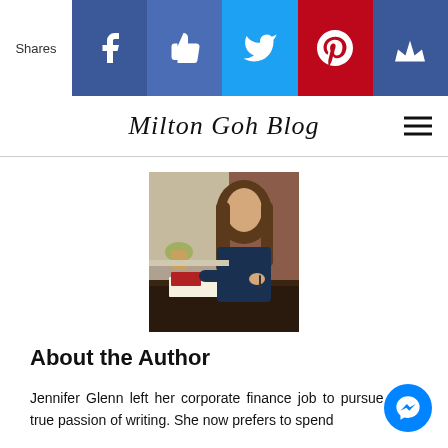Shares | Facebook | Like | Twitter | Pinterest | Crown
Milton Goh Blog
[Figure (photo): A woman with long brown hair sitting at a dark wooden desk near a window, writing in a notebook. A red book and potted plant are visible in the background.]
About the Author
Jennifer Glenn left her corporate finance job to pursue her true passion of writing. She now prefers to spend more time with her thoughts and children.